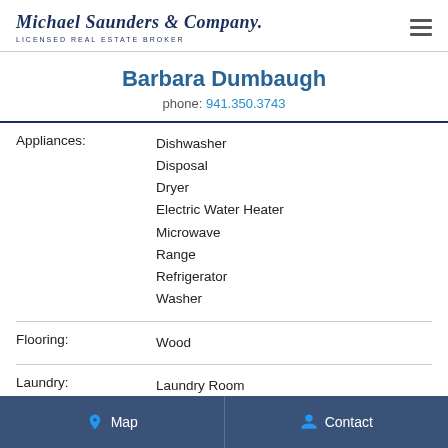Michael Saunders & Company. LICENSED REAL ESTATE BROKER
Barbara Dumbaugh
phone: 941.350.3743
| Field | Value |
| --- | --- |
| Appliances: | Dishwasher
Disposal
Dryer
Electric Water Heater
Microwave
Range
Refrigerator
Washer |
| Flooring: | Wood |
| Laundry: | Laundry Room |
Map   Contact